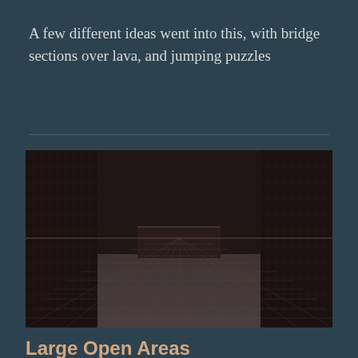A few different ideas went into this, with bridge sections over lava, and jumping puzzles
[Figure (screenshot): A 3D game engine wireframe/grid view of a large open area with dark textured walls and a checkered grid floor. The view shows a low-lit interior space with geometric block shapes and grid lines overlaid on surfaces.]
Large Open Areas
Finally, one thing I fell in love with in this whole